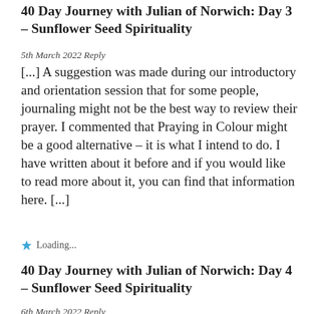40 Day Journey with Julian of Norwich: Day 3 – Sunflower Seed Spirituality
5th March 2022 Reply
[...] A suggestion was made during our introductory and orientation session that for some people, journaling might not be the best way to review their prayer. I commented that Praying in Colour might be a good alternative – it is what I intend to do. I have written about it before and if you would like to read more about it, you can find that information here. [...]
Loading...
40 Day Journey with Julian of Norwich: Day 4 – Sunflower Seed Spirituality
6th March 2022 Reply